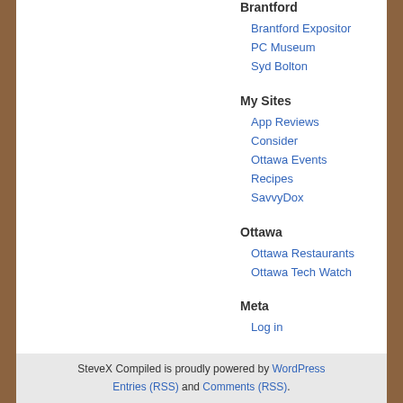Brantford
Brantford Expositor
PC Museum
Syd Bolton
My Sites
App Reviews
Consider
Ottawa Events
Recipes
SavvyDox
Ottawa
Ottawa Restaurants
Ottawa Tech Watch
Meta
Log in
SteveX Compiled is proudly powered by WordPress Entries (RSS) and Comments (RSS).